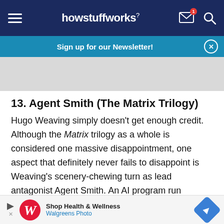howstuffworks
Sign up for our Newsletter!
13. Agent Smith (The Matrix Trilogy)
Hugo Weaving simply doesn't get enough credit. Although the Matrix trilogy as a whole is considered one massive disappointment, one aspect that definitely never fails to disappoint is Weaving's scenery-chewing turn as lead antagonist Agent Smith. An AI program run rampant, Smith's
[Figure (screenshot): Walgreens advertisement banner at bottom of page showing Walgreens Photo logo and text 'Shop Health & Wellness']